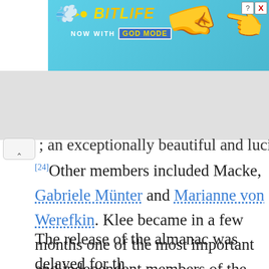[Figure (screenshot): BitLife advertisement banner with yellow text on cyan/blue background, showing 'BitLife NOW WITH GOD MODE', cartoon hand and sperm graphics, close button]
…an exceptionally beautiful and lucid mind
[24]Other members included Macke, Gabriele Münter and Marianne von Werefkin. Klee became in a few months one of the most important and independent members of the Blaue Reiter, but he was not yet fully integrated.[25]
The release of the almanac was delayed for the benefit of an exhibition. The first Blaue Reiter